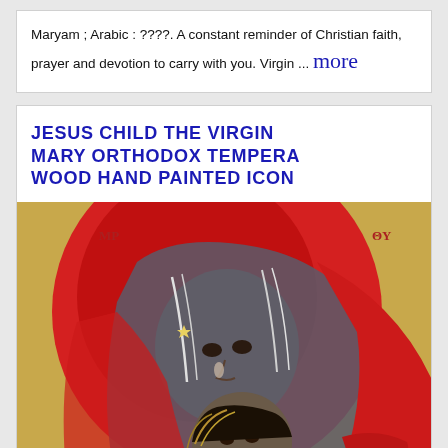Maryam ; Arabic : ????. A constant reminder of Christian faith, prayer and devotion to carry with you. Virgin ... more
JESUS CHILD THE VIRGIN MARY ORTHODOX TEMPERA WOOD HAND PAINTED ICON
[Figure (illustration): Orthodox icon painting of the Virgin Mary holding the Christ child. The Virgin Mary is depicted with a large red halo/mandorla background and a grey-blue veil (maphorion). She is shown in close embrace with the Christ child below her. The icon is painted in tempera on wood in the traditional Byzantine style. Red Greek letters MP (Mother of God) visible top left, OY top right. Small letter G visible bottom left.]